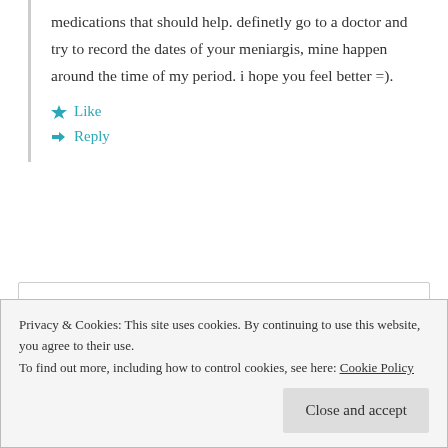medications that should help. definetly go to a doctor and try to record the dates of your meniargis, mine happen around the time of my period. i hope you feel better =).
★ Like
↳ Reply
Susan Adams
Privacy & Cookies: This site uses cookies. By continuing to use this website, you agree to their use.
To find out more, including how to control cookies, see here: Cookie Policy